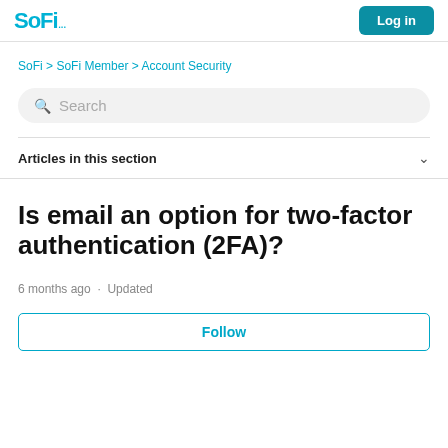SoFi ... Log in
SoFi > SoFi Member > Account Security
Search
Articles in this section
Is email an option for two-factor authentication (2FA)?
6 months ago · Updated
Follow